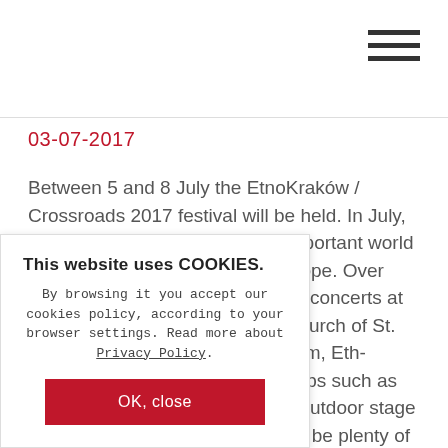03-07-2017
Between 5 and 8 July the EtnoKraków / Crossroads 2017 festival will be held. In July, Kraków hosts one of the most important world music festivals in this part of Europe. Over 100 musicians perform during 20 concerts at special locations including the Church of St. Catherine, Galicia Jewish Museum, Eth-nographic Museum, Kraków's clubs such as Alchemia and Strefa, and on an outdoor stage at Wolnica Square. And there will be plenty of accompanying ... and workshops of music ... Kraków welcomes stars ... f the kamancheh – ... nstrument. We will hear ... with the Finnish singer ... ve project with Mariana ... ss
This website uses COOKIES. By browsing it you accept our cookies policy, according to your browser settings. Read more about Privacy Policy. OK, close